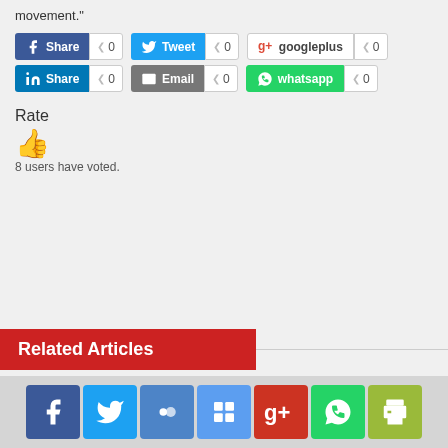movement."
[Figure (screenshot): Social sharing buttons: Facebook Share (0), Tweet (0), googleplus (0), LinkedIn Share (0), Email (0), whatsapp (0)]
Rate
[Figure (illustration): Thumbs up icon in orange]
8 users have voted.
Related Articles
[Figure (screenshot): Footer social media icon bar: Facebook, Twitter, Myspace, Addthis, Google+, WhatsApp, Print]